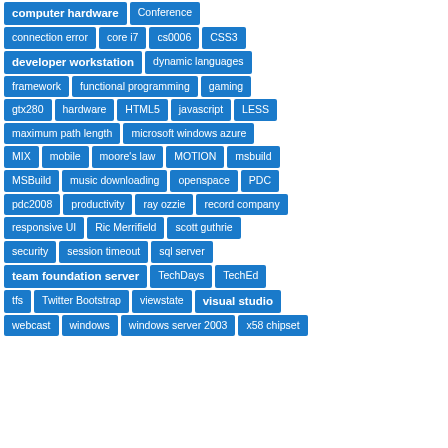[Figure (infographic): Tag cloud of technology-related terms displayed as blue rectangular badges arranged in rows. Bold tags indicate higher frequency/importance. Tags include: computer hardware, Conference, connection error, core i7, cs0006, CSS3, developer workstation, dynamic languages, framework, functional programming, gaming, gtx280, hardware, HTML5, javascript, LESS, maximum path length, microsoft windows azure, MIX, mobile, moore's law, MOTION, msbuild, MSBuild, music downloading, openspace, PDC, pdc2008, productivity, ray ozzie, record company, responsive UI, Ric Merrifield, scott guthrie, security, session timeout, sql server, team foundation server, TechDays, TechEd, tfs, Twitter Bootstrap, viewstate, visual studio, webcast, windows, windows server 2003, x58 chipset]